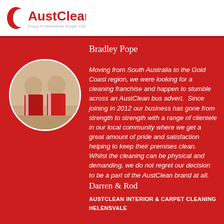AustClean — Enjoy Professional Single Clean
Bradley Pope
[Figure (photo): Two men in red AustClean polo shirts standing together, circular cropped photo]
Moving from South Australia to the Gold Coast region, we were looking for a cleaning franchise and happen to stumble across an AustClean bus advert.  Since joining in 2012 our business has gone from strength to strength with a range of clientele in our local community where we get a great amount of pride and satisfaction helping to keep their premises clean. Whilst the cleaning can be physical and demanding, we do not regret our decision to be a part of the AustClean brand at all.
Darren & Rod
AUSTCLEAN INTERIOR & CARPET CLEANING
HELENSVALE